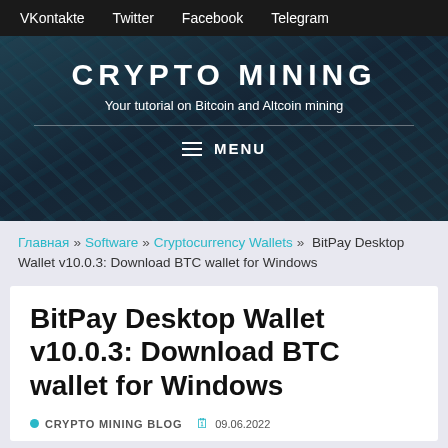VKontakte   Twitter   Facebook   Telegram
CRYPTO MINING
Your tutorial on Bitcoin and Altcoin mining
☰ MENU
Главная » Software » Cryptocurrency Wallets » BitPay Desktop Wallet v10.0.3: Download BTC wallet for Windows
BitPay Desktop Wallet v10.0.3: Download BTC wallet for Windows
by CRYPTO MINING BLOG  🗓 09.06.2022